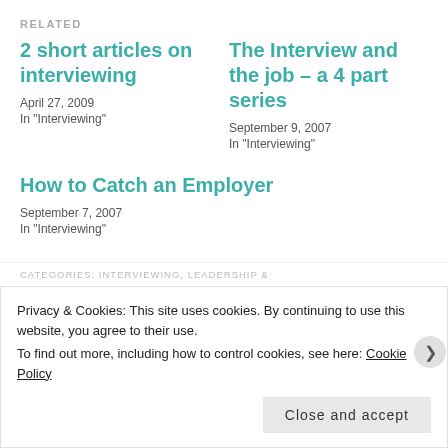RELATED
2 short articles on interviewing
April 27, 2009
In "Interviewing"
The Interview and the job – a 4 part series
September 9, 2007
In "Interviewing"
How to Catch an Employer
September 7, 2007
In "Interviewing"
CATEGORIES: INTERVIEWING, LEADERSHIP &
Privacy & Cookies: This site uses cookies. By continuing to use this website, you agree to their use.
To find out more, including how to control cookies, see here: Cookie Policy
Close and accept